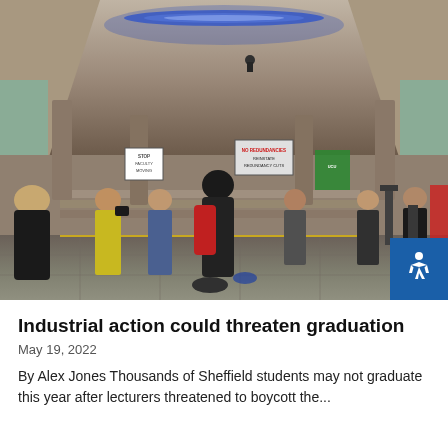[Figure (photo): Outdoor protest under a concrete underpass with blue LED lighting. Several people holding signs including 'No Redundancies' and other placards. A central figure wearing a red backpack stands in the foreground. The scene takes place on a paved area with concrete pillars and steps in the background.]
Industrial action could threaten graduation
May 19, 2022
By Alex Jones Thousands of Sheffield students may not graduate this year after lecturers threatened to boycott the...